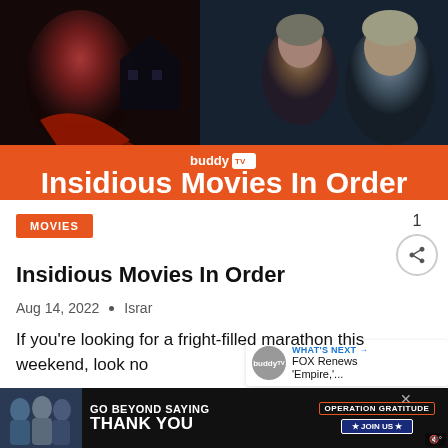[Figure (photo): Horror movie collage showing dark figures, haunted house, and frightened people with BuddyTV orange banner overlay reading 'Insidious Movies In Order']
MOVIES
Insidious Movies In Order
Aug 14, 2022 • Israr
If you're looking for a fright-filled marathon this weekend, look no
[Figure (infographic): WHAT'S NEXT → FOX Renews 'Empire,'... widget with BuddyTV logo]
[Figure (infographic): Advertisement banner: GO BEYOND SAYING THANK YOU with Operation Gratitude logo and JOIN US button]